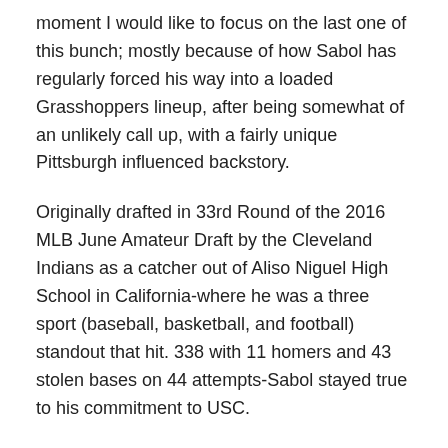moment I would like to focus on the last one of this bunch; mostly because of how Sabol has regularly forced his way into a loaded Grasshoppers lineup, after being somewhat of an unlikely call up, with a fairly unique Pittsburgh influenced backstory.
Originally drafted in 33rd Round of the 2016 MLB June Amateur Draft by the Cleveland Indians as a catcher out of Aliso Niguel High School in California-where he was a three sport (baseball, basketball, and football) standout that hit. 338 with 11 homers and 43 stolen bases on 44 attempts-Sabol stayed true to his commitment to USC.
Sticking at catcher during his freshman season with the Trojans, he began to expand on his skill set-mostly due to his athleticism-as he started with a move to first base in the Cape Cod League and then to the outfield in his